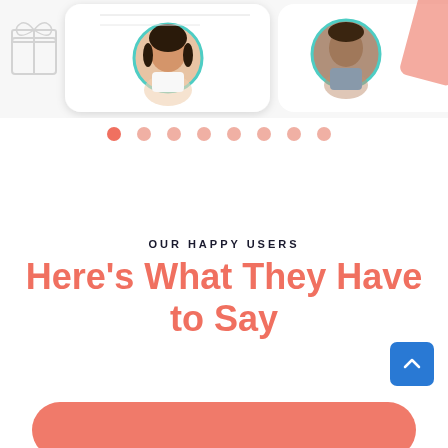[Figure (screenshot): Top portion of a mobile app screenshot/slideshow showing two user profile cards with circular avatar photos (a woman on the left, a man on the right) with teal circle borders, overlaid on phone screens. A gift box icon and pink diagonal element are visible.]
[Figure (other): Carousel/slideshow pagination dots row: 8 dots, the first one darker (active) and the rest lighter salmon/pink color.]
OUR HAPPY USERS
Here's What They Have to Say
[Figure (other): Blue back-to-top button with upward chevron arrow icon, bottom-right corner.]
[Figure (other): Salmon/coral rounded rectangle button at the bottom of the page, partially visible.]